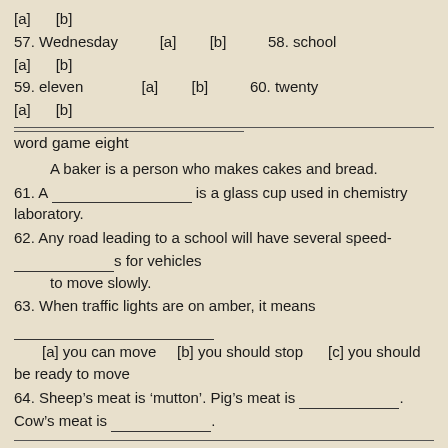[a]    [b]
57. Wednesday    [a]    [b]    58. school
[a]    [b]
59. eleven    [a]    [b]    60. twenty
[a]    [b]
word game eight
A baker is a person who makes cakes and bread.
61. A ___________________ is a glass cup used in chemistry laboratory.
62. Any road leading to a school will have several speed-_______________s for vehicles
    to move slowly.
63. When traffic lights are on amber, it means ____________________
[a] you can move    [b] you should stop    [c] you should be ready to move
64. Sheep's meat is 'mutton'. Pig's meat is ____________. Cow's meat is ____________.